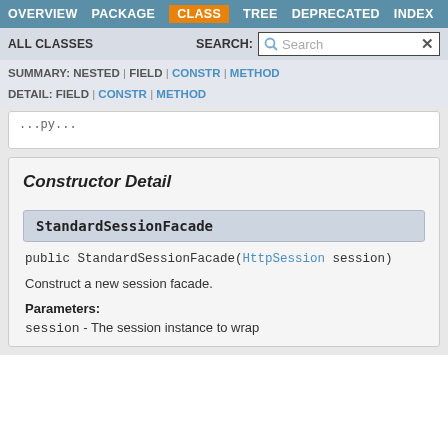OVERVIEW  PACKAGE  CLASS  TREE  DEPRECATED  INDEX
ALL CLASSES   SEARCH:
SUMMARY: NESTED | FIELD | CONSTR | METHOD  DETAIL: FIELD | CONSTR | METHOD
...
Constructor Detail
StandardSessionFacade
public StandardSessionFacade(HttpSession session)
Construct a new session facade.
Parameters:
session - The session instance to wrap